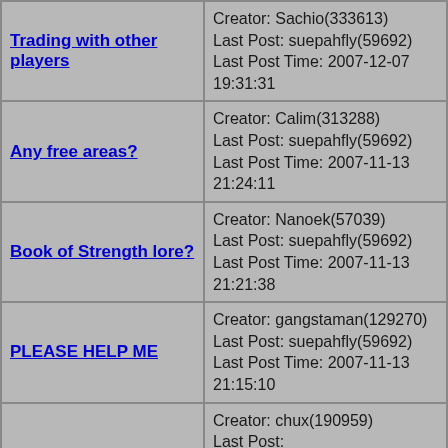| Topic | Info |
| --- | --- |
| Trading with other players | Creator: Sachio(333613)
Last Post: suepahfly(59692)
Last Post Time: 2007-12-07 19:31:31 |
| Any free areas? | Creator: Calim(313288)
Last Post: suepahfly(59692)
Last Post Time: 2007-11-13 21:24:11 |
| Book of Strength lore? | Creator: Nanoek(57039)
Last Post: suepahfly(59692)
Last Post Time: 2007-11-13 21:21:38 |
| PLEASE HELP ME | Creator: gangstaman(129270)
Last Post: suepahfly(59692)
Last Post Time: 2007-11-13 21:15:10 |
| I have a question | Creator: chux(190959)
Last Post: dragonsawaken(288210)
Last Post Time: 2007-05-06 19:35:28 |
| plz help a noob | Creator: uchiha ichigo(281156)
Last Post: The Legend Killer(21778) |